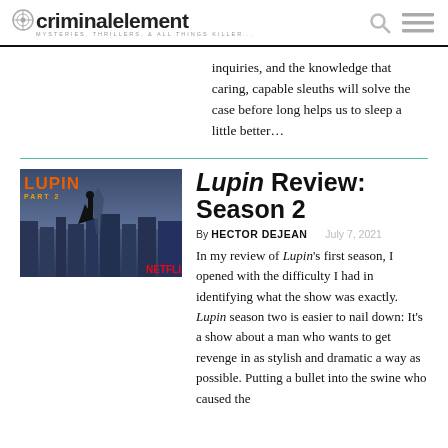criminalelement MYSTERIES, THRILLERS, & ALL THINGS KILLER...
inquiries, and the knowledge that caring, capable sleuths will solve the case before long helps us to sleep a little better…
[Figure (screenshot): Lupin Season 2 Netflix promotional poster showing a figure standing on a rooftop overlooking Paris with orange LUPIN PART 2 text]
Lupin Review: Season 2
By HECTOR DEJEAN  July 7, 2021
In my review of Lupin's first season, I opened with the difficulty I had in identifying what the show was exactly. Lupin season two is easier to nail down: It's a show about a man who wants to get revenge in as stylish and dramatic a way as possible. Putting a bullet into the swine who caused the